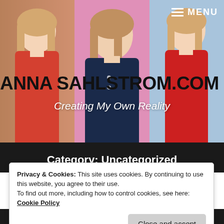[Figure (photo): Website header banner showing three photos of Anna Sahlstrom against different colored backgrounds (warm brown, pink, light blue), each wearing different colored tops. The photos are arranged side by side as a collage.]
≡ MENU
ANNA SAHLSTROM.COM
Creating My Own Reality
Category: Uncategorized
Privacy & Cookies: This site uses cookies. By continuing to use this website, you agree to their use.
To find out more, including how to control cookies, see here: Cookie Policy
Close and accept
SPECIAL SPACE